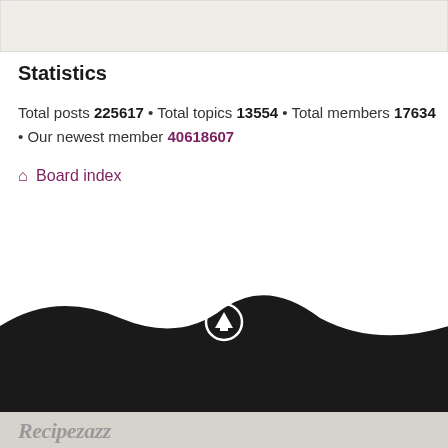[Figure (other): Gray box at top of page, partial content area]
Statistics
Total posts 225617 • Total topics 13554 • Total members 17634 • Our newest member 40618607
Board index
[Figure (illustration): Black wave shape with upward arrow icon circle in center, dark footer bar, Recipezazz logo at bottom]